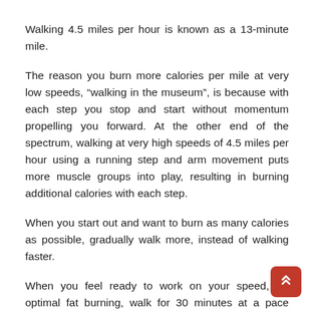Walking 4.5 miles per hour is known as a 13-minute mile.
The reason you burn more calories per mile at very low speeds, “walking in the museum”, is because with each step you stop and start without momentum propelling you forward. At the other end of the spectrum, walking at very high speeds of 4.5 miles per hour using a running step and arm movement puts more muscle groups into play, resulting in burning additional calories with each step.
When you start out and want to burn as many calories as possible, gradually walk more, instead of walking faster.
When you feel ready to work on your speed, for optimal fat burning, walk for 30 minutes at a pace where your breathing is noticeable but you can carry on a conversation in complete sentences. This would be 60% to 70% of your maximum heart rate.